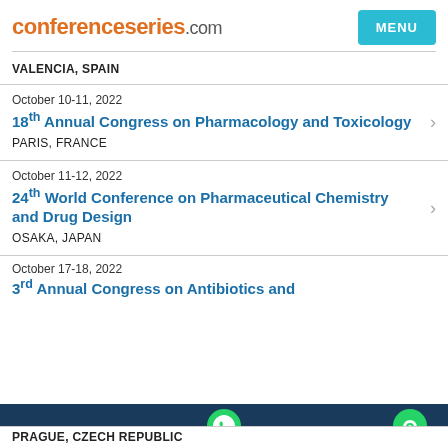conferenceseries.com
VALENCIA, SPAIN
October 10-11, 2022
18th Annual Congress on Pharmacology and Toxicology
PARIS, FRANCE
October 11-12, 2022
24th World Conference on Pharmaceutical Chemistry and Drug Design
OSAKA, JAPAN
October 17-18, 2022
3rd Annual Congress on Antibiotics and
PRAGUE, CZECH REPUBLIC